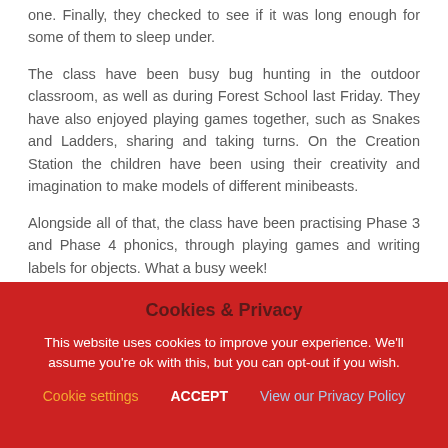one. Finally, they checked to see if it was long enough for some of them to sleep under.
The class have been busy bug hunting in the outdoor classroom, as well as during Forest School last Friday. They have also enjoyed playing games together, such as Snakes and Ladders, sharing and taking turns. On the Creation Station the children have been using their creativity and imagination to make models of different minibeasts.
Alongside all of that, the class have been practising Phase 3 and Phase 4 phonics, through playing games and writing labels for objects. What a busy week!
Cookies & Privacy
This website uses cookies to improve your experience. We'll assume you're ok with this, but you can opt-out if you wish.
Cookie settings  ACCEPT  View our Privacy Policy